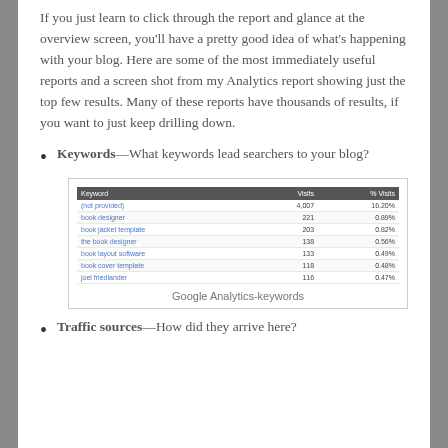If you just learn to click through the report and glance at the overview screen, you'll have a pretty good idea of what's happening with your blog. Here are some of the most immediately useful reports and a screen shot from my Analytics report showing just the top few results. Many of these reports have thousands of results, if you want to just keep drilling down.
Keywords—What keywords lead searchers to your blog?
[Figure (screenshot): Google Analytics keywords table screenshot showing keyword, visits, and % visits columns with rows: (not provided) 4,007 16.20%; book designer 221 0.89%; book jacket template 203 0.82%; the book designer 138 0.56%; book layout software 133 0.49%; book cover template 118 0.48%; joel friedlander 116 0.47%]
Google Analytics-keywords
Traffic sources—How did they arrive here?